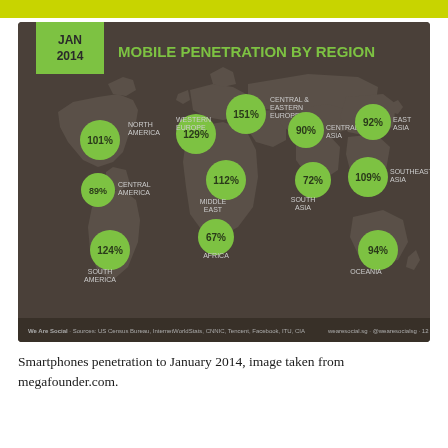[Figure (map): World map showing mobile penetration by region as of January 2014. Green circles with percentages overlaid on a dark brown world map silhouette. Regions and values: North America 101%, Central America 89%, South America 124%, Western Europe 129%, Central & Eastern Europe 151%, Middle East 112%, Africa 67%, Central Asia 90%, South Asia 72%, East Asia 92%, Southeast Asia 109%, Oceania 94%. Title reads 'JAN 2014 MOBILE PENETRATION BY REGION'. Footer: We Are Social, Sources: US Census Bureau, InternetWorldStats, CNNIC, Tencent, Facebook, ITU, CIA. wearesocial.sg @wearesocialsg 12.]
Smartphones penetration to January 2014, image taken from megafounder.com.